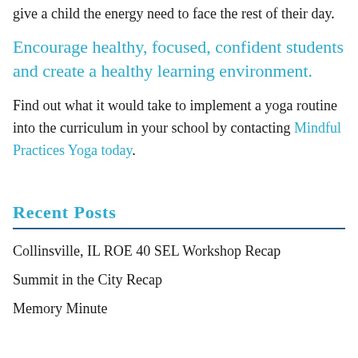give a child the energy need to face the rest of their day.
Encourage healthy, focused, confident students and create a healthy learning environment.
Find out what it would take to implement a yoga routine into the curriculum in your school by contacting Mindful Practices Yoga today.
Recent Posts
Collinsville, IL ROE 40 SEL Workshop Recap
Summit in the City Recap
Memory Minute